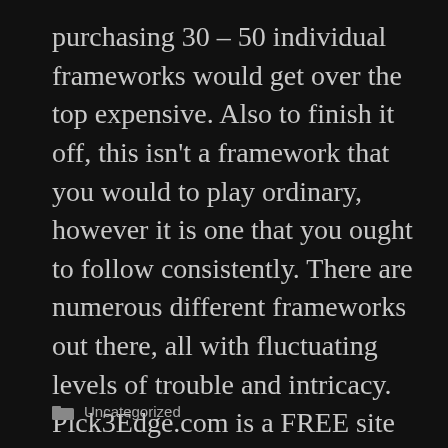purchasing 30 – 50 individual frameworks would get over the top expensive. Also to finish it off, this isn't a framework that you would to play ordinary, however it is one that you ought to follow consistently. There are numerous different frameworks out there, all with fluctuating levels of trouble and intricacy. Pick3Edge.com is a FREE site that is exclusively committed to assisting any expertise with evening out player get the top Pick 3 lottery frameworks. They truly give you an edge on playing the Pick 3 lottery.
Uncategorized